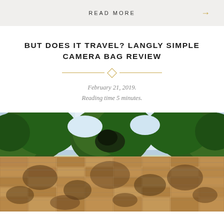READ MORE →
BUT DOES IT TRAVEL? LANGLY SIMPLE CAMERA BAG REVIEW
February 21, 2019.
Reading time 5 minutes.
[Figure (photo): Outdoor photo showing green trees against a bright sky in the upper half, and a weathered stone or brick wall with shadows in the lower half.]